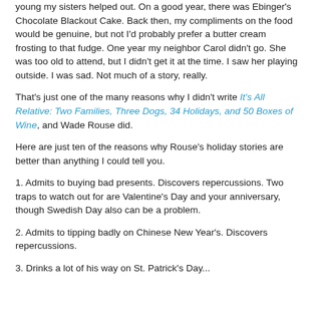young my sisters helped out. On a good year, there was Ebinger's Chocolate Blackout Cake. Back then, my compliments on the food would be genuine, but not I'd probably prefer a butter cream frosting to that fudge. One year my neighbor Carol didn't go. She was too old to attend, but I didn't get it at the time. I saw her playing outside. I was sad. Not much of a story, really.
That's just one of the many reasons why I didn't write It's All Relative: Two Families, Three Dogs, 34 Holidays, and 50 Boxes of Wine, and Wade Rouse did.
Here are just ten of the reasons why Rouse's holiday stories are better than anything I could tell you.
1. Admits to buying bad presents. Discovers repercussions. Two traps to watch out for are Valentine's Day and your anniversary, though Swedish Day also can be a problem.
2. Admits to tipping badly on Chinese New Year's. Discovers repercussions.
3. Drinks a lot of his way on St. Patrick's Day...